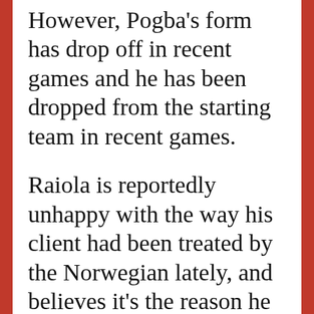However, Pogba's form has drop off in recent games and he has been dropped from the starting team in recent games.
Raiola is reportedly unhappy with the way his client had been treated by the Norwegian lately, and believes it's the reason he has struggled to replicate his early season form.